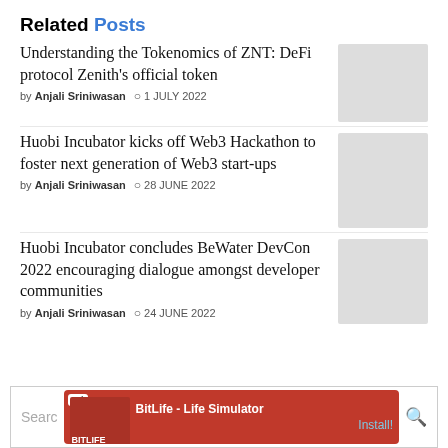Related Posts
Understanding the Tokenomics of ZNT: DeFi protocol Zenith's official token
by Anjali Sriniwasan  1 JULY 2022
Huobi Incubator kicks off Web3 Hackathon to foster next generation of Web3 start-ups
by Anjali Sriniwasan  28 JUNE 2022
Huobi Incubator concludes BeWater DevCon 2022 encouraging dialogue amongst developer communities
by Anjali Sriniwasan  24 JUNE 2022
Search... BitLife - Life Simulator Install!